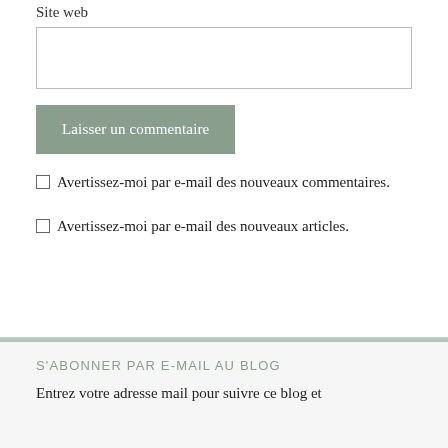Site web
[Figure (other): Empty text input field for website URL]
[Figure (other): Button labeled 'Laisser un commentaire' with grey-green background]
Avertissez-moi par e-mail des nouveaux commentaires.
Avertissez-moi par e-mail des nouveaux articles.
S'ABONNER PAR E-MAIL AU BLOG
Entrez votre adresse mail pour suivre ce blog et